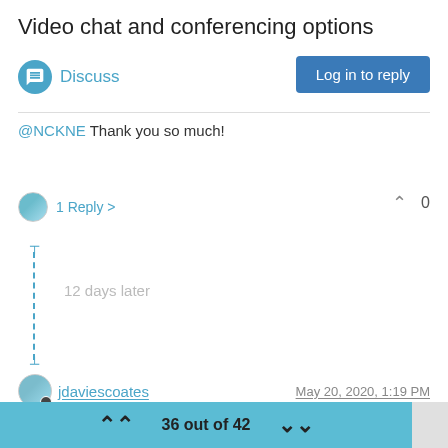Video chat and conferencing options
Discuss
Log in to reply
@NCKNE Thank you so much!
1 Reply >
0
12 days later
jdaviescoates   May 20, 2020, 1:19 PM
Nextcloud Talk 9 coming out soon with some improvements.
Even more significantly, the high performance backend has been open sourced:
36 out of 42